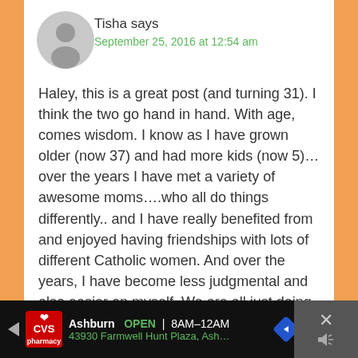Tisha says
September 25, 2016 at 12:54 am
Haley, this is a great post (and turning 31). I think the two go hand in hand. With age, comes wisdom. I know as I have grown older (now 37) and had more kids (now 5)…over the years I have met a variety of awesome moms….who all do things differently.. and I have really benefited from and enjoyed having friendships with lots of different Catholic women. And over the years, I have become less judgmental and also easier on myself. We are all just doing our best here and trying to grow closer to the Lord. 🙂 I really enjoy your blog.
Reply
Ashburn  OPEN  8AM–12AM
43930 Farmwell Hunt Plaza, Ash…